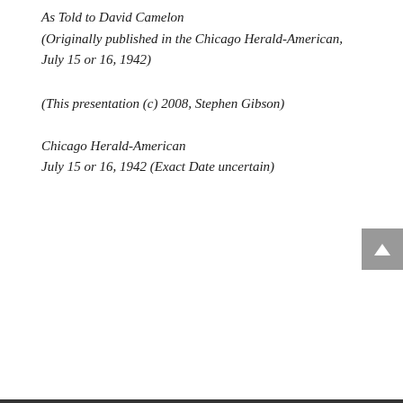As Told to David Camelon
(Originally published in the Chicago Herald-American, July 15 or 16, 1942)
(This presentation (c) 2008, Stephen Gibson)
Chicago Herald-American
July 15 or 16, 1942 (Exact Date uncertain)